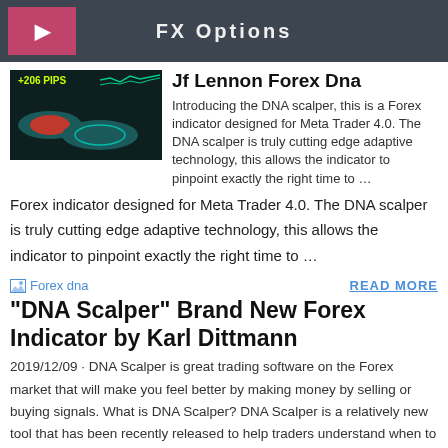FX Options
Jf Lennon Forex Dna
Introducing the DNA scalper, this is a Forex indicator designed for Meta Trader 4.0. The DNA scalper is truly cutting edge adaptive technology, this allows the indicator to pinpoint exactly the right time to …
[Figure (other): Forex dna image placeholder icon]
READ MORE
“DNA Scalper” Brand New Forex Indicator by Karl Dittmann
2019/12/09 · DNA Scalper is great trading software on the Forex market that will make you feel better by making money by selling or buying signals. What is DNA Scalper? DNA Scalper is a relatively new tool that has been recently released to help traders understand when to undertake or perform operations and maximize profits.